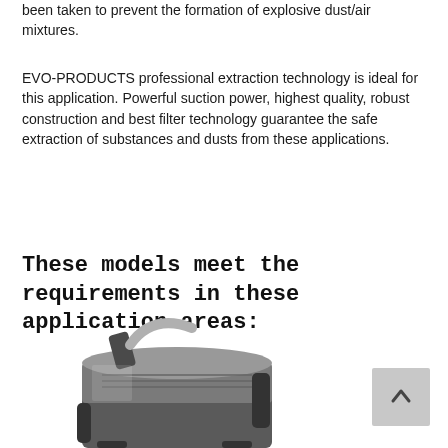been taken to prevent the formation of explosive dust/air mixtures.
EVO-PRODUCTS professional extraction technology is ideal for this application. Powerful suction power, highest quality, robust construction and best filter technology guarantee the safe extraction of substances and dusts from these applications.
These models meet the requirements in these application areas:
[Figure (photo): Industrial vacuum/extraction machine, metallic silver and black, with hoses and handles, partially visible at bottom of page]